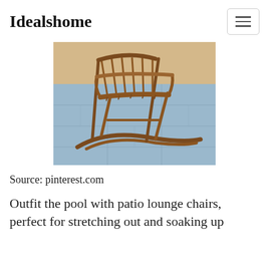Idealshome
[Figure (photo): A wooden rocking chair photographed from the side-front angle, placed on a blue stone patio surface with a sandy/beige background. The chair is made of warm brown teak or similar hardwood with vertical slat backrest and curved rockers.]
Source: pinterest.com
Outfit the pool with patio lounge chairs, perfect for stretching out and soaking up